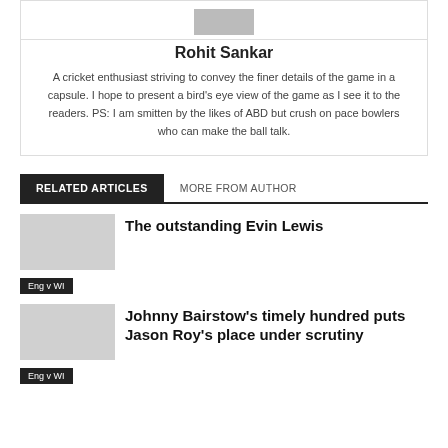[Figure (photo): Author photo of Rohit Sankar]
Rohit Sankar
A cricket enthusiast striving to convey the finer details of the game in a capsule. I hope to present a bird's eye view of the game as I see it to the readers. PS: I am smitten by the likes of ABD but crush on pace bowlers who can make the ball talk.
RELATED ARTICLES   MORE FROM AUTHOR
The outstanding Evin Lewis
Eng v WI
Johnny Bairstow's timely hundred puts Jason Roy's place under scrutiny
Eng v WI